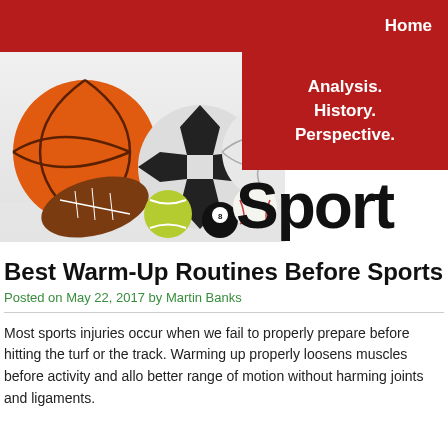Home
[Figure (photo): Collection of sports balls including basketball, soccer ball, volleyball, baseball, tennis ball, billiard ball, and football arranged together on a reflective surface, alongside a red banner reading 'Analysis. History. Perspective.' and large black text 'Sport']
Best Warm-Up Routines Before Sports
Posted on May 22, 2017 by Martin Banks
Most sports injuries occur when we fail to properly prepare before hitting the turf or the track. Warming up properly loosens muscles before activity and allo better range of motion without harming joints and ligaments.